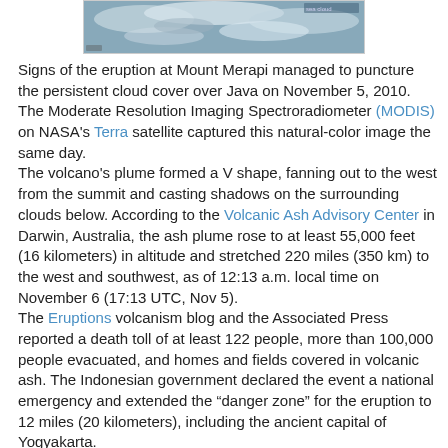[Figure (photo): Satellite image of Mount Merapi eruption plume captured by NASA Terra MODIS on November 5, 2010, showing volcanic ash cloud over Java]
Signs of the eruption at Mount Merapi managed to puncture the persistent cloud cover over Java on November 5, 2010. The Moderate Resolution Imaging Spectroradiometer (MODIS) on NASA's Terra satellite captured this natural-color image the same day.
The volcano's plume formed a V shape, fanning out to the west from the summit and casting shadows on the surrounding clouds below. According to the Volcanic Ash Advisory Center in Darwin, Australia, the ash plume rose to at least 55,000 feet (16 kilometers) in altitude and stretched 220 miles (350 km) to the west and southwest, as of 12:13 a.m. local time on November 6 (17:13 UTC, Nov 5).
The Eruptions volcanism blog and the Associated Press reported a death toll of at least 122 people, more than 100,000 people evacuated, and homes and fields covered in volcanic ash. The Indonesian government declared the event a national emergency and extended the “danger zone” for the eruption to 12 miles (20 kilometers), including the ancient capital of Yogyakarta.
As a result, a joint team attempting to observe Mount Merapi site is